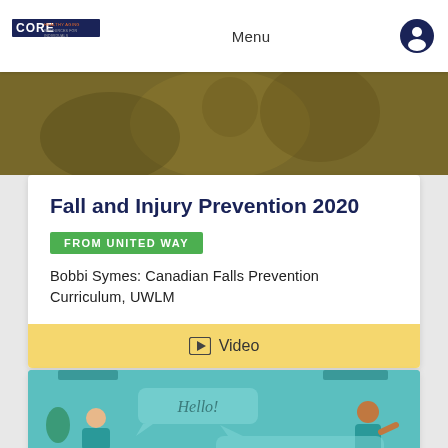CORE | Menu
[Figure (photo): Hero banner image showing a blurred warm golden-brown background, likely depicting a person or activity related to fall prevention.]
Fall and Injury Prevention 2020
FROM UNITED WAY
Bobbi Symes: Canadian Falls Prevention Curriculum, UWLM
Video
[Figure (illustration): Illustrated scene with two people having a conversation. Speech bubbles show 'Hello!' and 'Hi. Keeping busy?' on a teal background.]